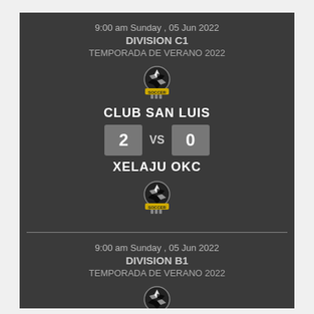9:00 am Sunday , 05 Jun 2022
DIVISION C1
TEMPORADA DE VERANO 2022
[Figure (logo): Soccer ball club logo with SOCCER text]
CLUB SAN LUIS
2 VS 0
XELAJU OKC
[Figure (logo): Soccer ball club logo with SOCCER text]
9:00 am Sunday , 05 Jun 2022
DIVISION B1
TEMPORADA DE VERANO 2022
[Figure (logo): Soccer ball club logo with SOCCER text]
DEP ABELINO
0 VS 4
DEP JUVENTINO ROSAS